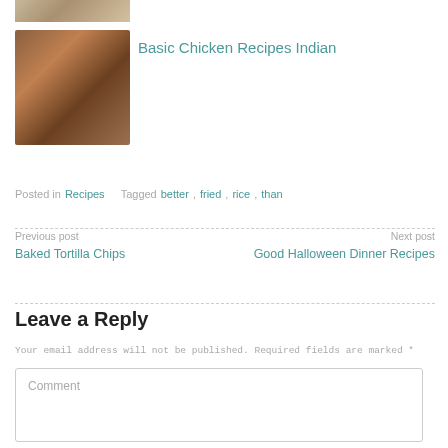[Figure (photo): Partial top image of food dish, cropped at top of page]
[Figure (photo): Bowl of Indian chicken curry dish with sauce and garnish]
Basic Chicken Recipes Indian
Posted in Recipes   Tagged better, fried, rice, than
Previous post
Baked Tortilla Chips
Next post
Good Halloween Dinner Recipes
Leave a Reply
Your email address will not be published. Required fields are marked *
Comment